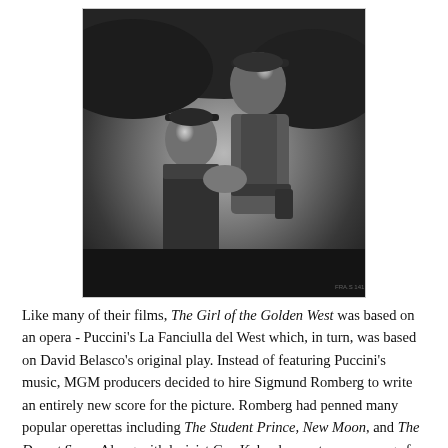[Figure (photo): Black and white film still showing two people in Western/cowboy costumes. One figure looks up at the other in a romantic pose.]
Like many of their films, The Girl of the Golden West was based on an opera - Puccini's La Fanciulla del West which, in turn, was based on David Belasco's original play. Instead of featuring Puccini's music, MGM producers decided to hire Sigmund Romberg to write an entirely new score for the picture. Romberg had penned many popular operettas including The Student Prince, New Moon, and The Desert Song. Along with lyricist Gus Kahn, he wrote seven songs for this film: the robust "Soldiers of Fortune", the lovely ballads "Shadows on the Moon" and "The Wind in the Trees", the